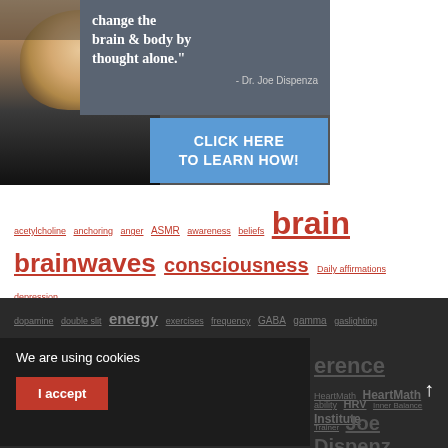[Figure (photo): Promotional banner showing a bald man in black shirt with quote 'change the brain & body by thought alone.' - Dr. Joe Dispenza and a blue button 'CLICK HERE TO LEARN HOW!']
acetylcholine  anchoring  anger  ASMR  awareness  beliefs  brain  brainwaves  consciousness  Daily affirmations  depression
dopamine  double slit  energy  exercises  frequency  GABA  gamma  gaslighting  heart  HoloSync coherence  HeartMath  HeartMath Institute  heart rate variability  HRV  Inner Balance Trainer  Joe Dispenza
We are using cookies
I accept
Law of attraction  meditation  mental rehearsal